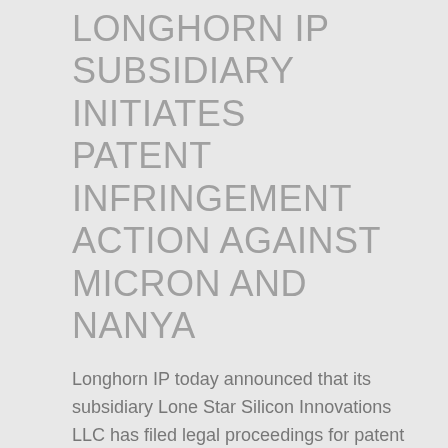LONGHORN IP SUBSIDIARY INITIATES PATENT INFRINGEMENT ACTION AGAINST MICRON AND NANYA
Longhorn IP today announced that its subsidiary Lone Star Silicon Innovations LLC has filed legal proceedings for patent infringement against Micron Technology and Nanya Technology in the U.S. District Court for the Eastern District of Texas on October 7, 2016.
Lone Star Silicon Innovations has